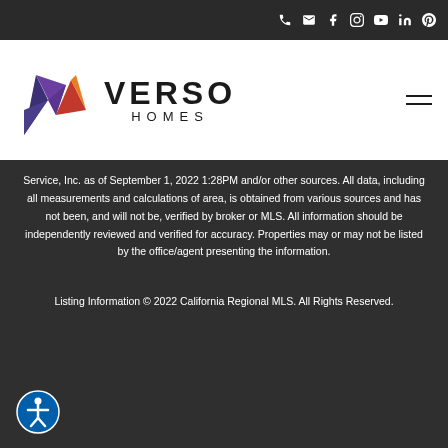Navigation icons: phone, email, facebook, instagram, youtube, linkedin, yelp
[Figure (logo): Verso Homes logo with colorful angular leaf/wing mark and bold VERSO HOMES text]
Service, Inc. as of September 1, 2022 1:28PM and/or other sources. All data, including all measurements and calculations of area, is obtained from various sources and has not been, and will not be, verified by broker or MLS. All information should be independently reviewed and verified for accuracy. Properties may or may not be listed by the office/agent presenting the information.
Listing Information © 2022 California Regional MLS. All Rights Reserved.